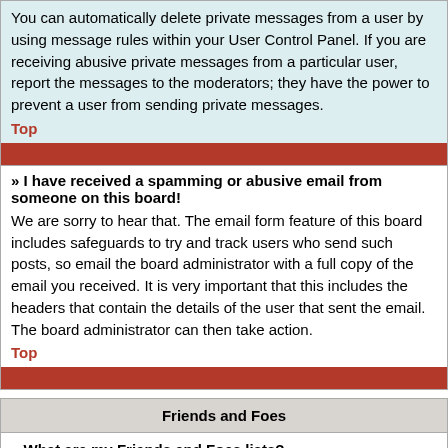You can automatically delete private messages from a user by using message rules within your User Control Panel. If you are receiving abusive private messages from a particular user, report the messages to the moderators; they have the power to prevent a user from sending private messages.
Top
» I have received a spamming or abusive email from someone on this board!
We are sorry to hear that. The email form feature of this board includes safeguards to try and track users who send such posts, so email the board administrator with a full copy of the email you received. It is very important that this includes the headers that contain the details of the user that sent the email. The board administrator can then take action.
Top
Friends and Foes
» What are my Friends and Foes lists?
You can use these lists to organise other members of the board. Members added to your friends list will be listed within your User Control Panel for quick access to see their online status and to send them private messages. Subject to template support, posts